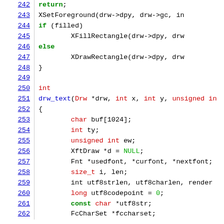[Figure (screenshot): Source code listing in C showing lines 242-262 of a drawing library. Lines show return statement, XSetForeground call, if/else block with XFillRectangle and XDrawRectangle, and drw_text function definition with variable declarations.]